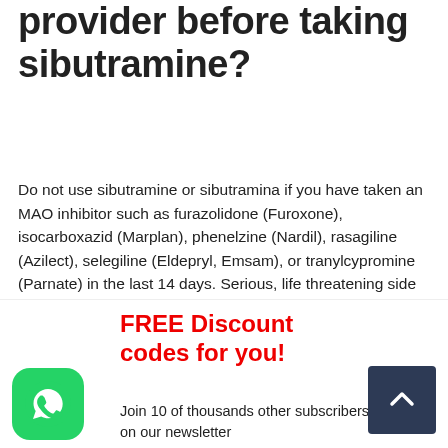provider before taking sibutramine?
Do not use sibutramine or sibutramina if you have taken an MAO inhibitor such as furazolidone (Furoxone), isocarboxazid (Marplan), phenelzine (Nardil), rasagiline (Azilect), selegiline (Eldepryl, Emsam), or tranylcypromine (Parnate) in the last 14 days. Serious, life threatening side effects can occur if you use sibutramine before the MAO inhibitor has cleared from your body.
fit depot
FREE Discount codes for you!
Join 10 of thousands other subscribers already on our newsletter